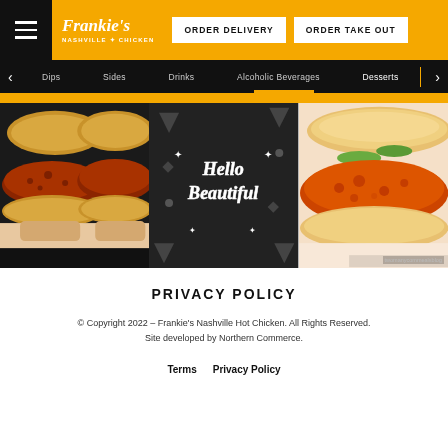Frankie's Nashville Hot Chicken — ORDER DELIVERY | ORDER TAKE OUT
[Figure (screenshot): Navigation menu bar with items: Dips, Sides, Drinks, Alcoholic Beverages, Desserts]
[Figure (photo): Three panel restaurant promotional images: two Nashville hot chicken sandwiches held in hands (left), black and white mural reading Hello Beautiful (center), close-up of Nashville hot chicken sandwich with pickles (right, credit twomanycommealsblog)]
PRIVACY POLICY
© Copyright 2022 – Frankie's Nashville Hot Chicken. All Rights Reserved. Site developed by Northern Commerce.
Terms
Privacy Policy